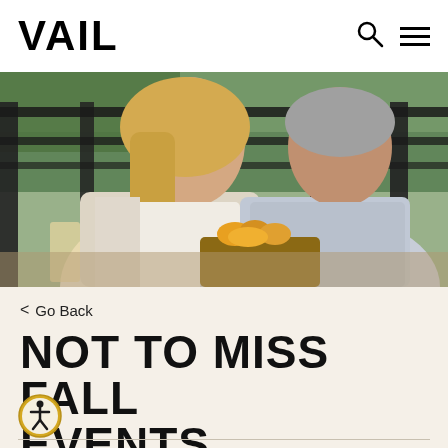VAIL
[Figure (photo): A couple sitting outdoors on a patio/deck with black railings and green trees in the background. A woman with blonde hair is smiling and laughing. A man with grey hair sits beside her. They have food on the table in front of them.]
< Go Back
NOT TO MISS FALL EVENTS
[Figure (other): Accessibility icon button — circular gold/yellow button with a stick figure person symbol inside]